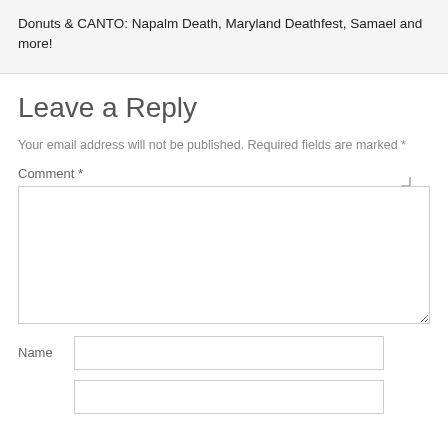Donuts & CANTO: Napalm Death, Maryland Deathfest, Samael and more!
Leave a Reply
Your email address will not be published. Required fields are marked *
Comment *
Name